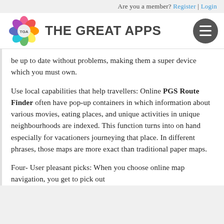Are you a member? Register | Login
[Figure (logo): The Great Apps logo with colorful flower icon and TGA text]
be up to date without problems, making them a super device which you must own.
Use local capabilities that help travellers: Online PGS Route Finder often have pop-up containers in which information about various movies, eating places, and unique activities in unique neighbourhoods are indexed. This function turns into on hand especially for vacationers journeying that place. In different phrases, those maps are more exact than traditional paper maps.
Four- User pleasant picks: When you choose online map navigation, you get to pick out